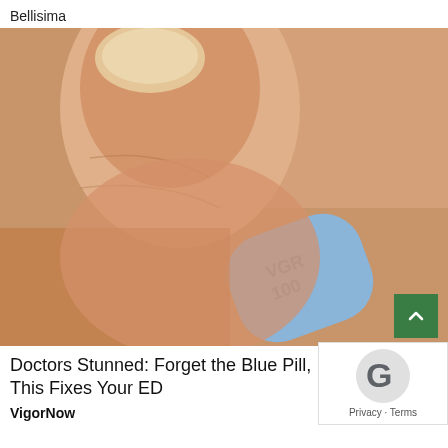Bellisima
[Figure (photo): Close-up photo of fingers holding a small blue diamond-shaped pill embossed with 'VGR 100']
Doctors Stunned: Forget the Blue Pill, This Fixes Your ED
VigorNow